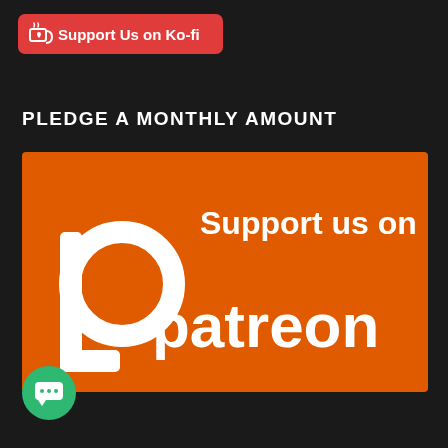[Figure (logo): Ko-fi red button with heart/cup icon and text 'Support Us on Ko-fi']
PLEDGE A MONTHLY AMOUNT
[Figure (logo): Patreon orange banner with Patreon logo and text 'Support us on patreon']
[Figure (logo): Green circular chat button at bottom left]